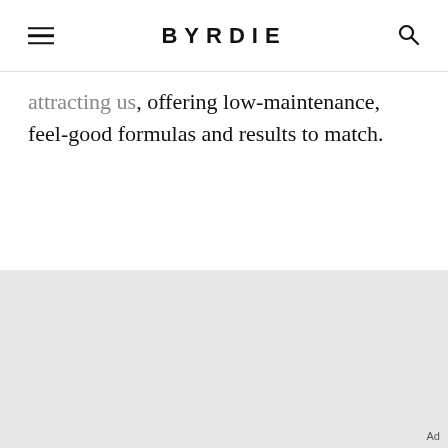BYRDIE
…attracting us, offering low-maintenance, feel-good formulas and results to match.
[Figure (other): Advertisement placeholder area with light grey background and 'Ad' label in bottom right corner]